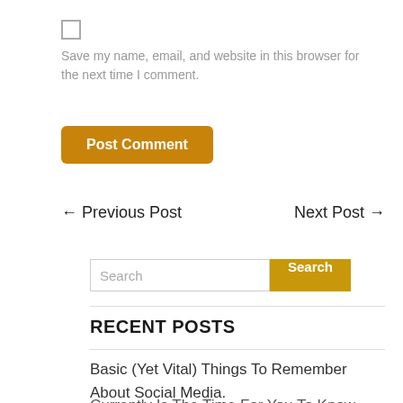Save my name, email, and website in this browser for the next time I comment.
Post Comment
← Previous Post
Next Post →
Search
RECENT POSTS
Basic (Yet Vital) Things To Remember About Social Media.
Currently Is The Time For You To Know The Reality